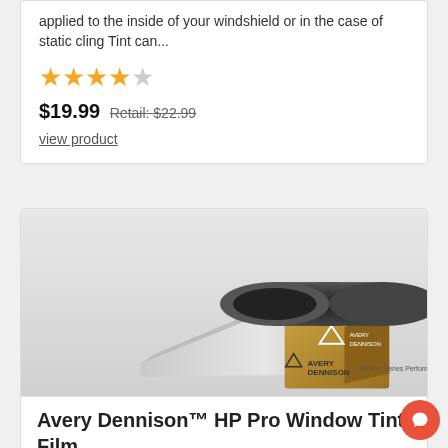applied to the inside of your windshield or in the case of static cling Tint can...
[Figure (infographic): 4 out of 5 stars rating]
$19.99  Retail: $22.99
view product
[Figure (photo): Avery Dennison HP Pro Series Performance Film roll and box product photo]
Avery Dennison™ HP Pro Window Tint Film